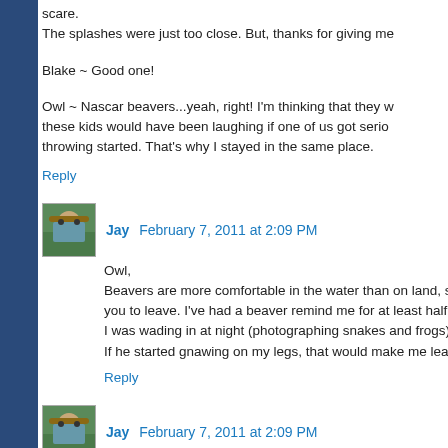scare.
The splashes were just too close. But, thanks for giving me
Blake ~ Good one!
Owl ~ Nascar beavers...yeah, right! I'm thinking that they w
these kids would have been laughing if one of us got serio
throwing started. That's why I stayed in the same place.
Reply
Jay  February 7, 2011 at 2:09 PM
Owl,
Beavers are more comfortable in the water than on land, s
you to leave. I've had a beaver remind me for at least half a
I was wading in at night (photographing snakes and frogs)..
If he started gnawing on my legs, that would make me leave
Reply
Jay  February 7, 2011 at 2:09 PM
Just trying to make sense of all better